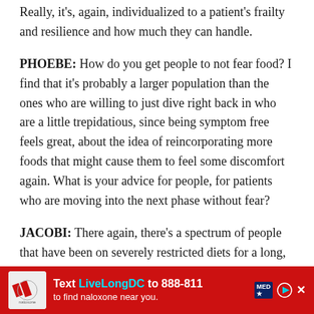Really, it's, again, individualized to a patient's frailty and resilience and how much they can handle.
PHOEBE:  How do you get people to not fear food? I find that it's probably a larger population than the ones who are willing to just dive right back in who are a little trepidatious, since being symptom free feels great, about the idea of reincorporating more foods that might cause them to feel some discomfort again. What is your advice for people, for patients who are moving into the next phase without fear?
JACOBI: There again, there's a spectrum of people that have been on severely restricted diets for a long, long, long time. There is a real issue around fear of food. I comp... ops with this. I often tell people to get something alien...
[Figure (infographic): Red advertisement banner: 'Text LiveLongDC to 888-811 to find naloxone near you.' with MedStar logo, play button icon, and close button.]